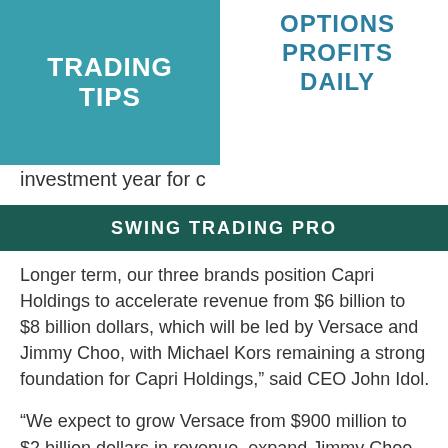TRADING TIPS
OPTIONS PROFITS DAILY
investment year for c
SWING TRADING PRO
Longer term, our three brands position Capri Holdings to accelerate revenue from $6 billion to $8 billion dollars, which will be led by Versace and Jimmy Choo, with Michael Kors remaining a strong foundation for Capri Holdings,” said CEO John Idol.
“We expect to grow Versace from $900 million to $2 billion dollars in revenue, expand Jimmy Choo from nearly $600